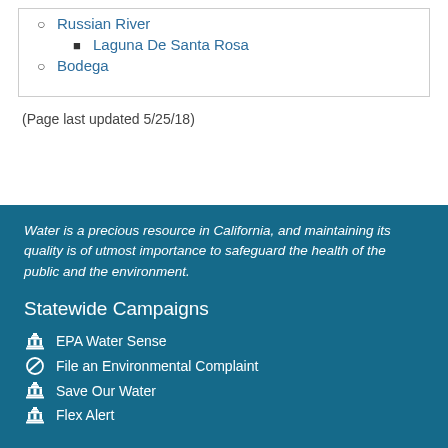Russian River
Laguna De Santa Rosa
Bodega
(Page last updated 5/25/18)
Water is a precious resource in California, and maintaining its quality is of utmost importance to safeguard the health of the public and the environment.
Statewide Campaigns
EPA Water Sense
File an Environmental Complaint
Save Our Water
Flex Alert